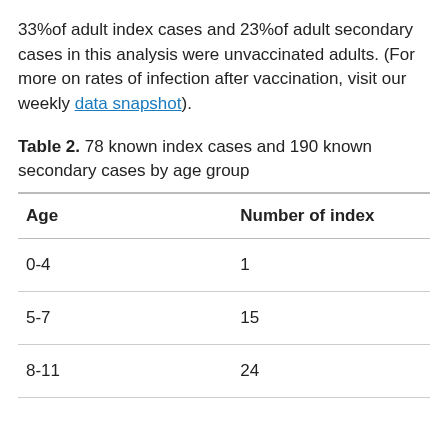33% of adult index cases and 23% of adult secondary cases in this analysis were unvaccinated adults. (For more on rates of infection after vaccination, visit our weekly data snapshot).
Table 2. 78 known index cases and 190 known secondary cases by age group
| Age | Number of index |
| --- | --- |
| 0-4 | 1 |
| 5-7 | 15 |
| 8-11 | 24 |